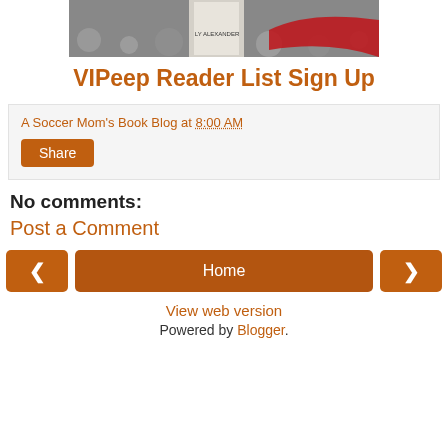[Figure (photo): Cropped bottom portion of a book cover photo with bokeh background and red ribbon]
VIPeep Reader List Sign Up
A Soccer Mom's Book Blog at 8:00 AM
Share
No comments:
Post a Comment
Home
View web version
Powered by Blogger.